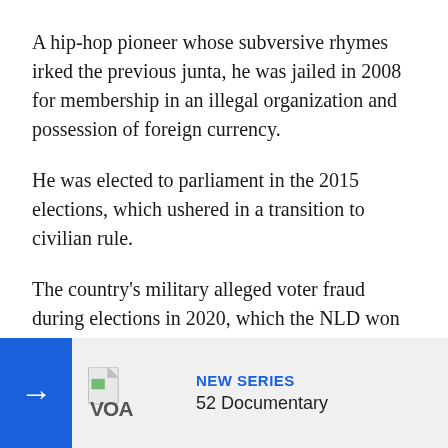A hip-hop pioneer whose subversive rhymes irked the previous junta, he was jailed in 2008 for membership in an illegal organization and possession of foreign currency.
He was elected to parliament in the 2015 elections, which ushered in a transition to civilian rule.
The country's military alleged voter fraud during elections in 2020, which the NLD won by a landslide, as justification for its coup on February 1, 2021.
Suu Kyi has been detained since then and faces a slew of charges in a junta court that could see her face a prison s[entence].
Ko Jimmy, wh[o] Myanmar's 10[...]
[Figure (logo): VOA (Voice of America) logo with NEW SERIES and 52 Documentary text in a notification banner overlay at the bottom of the page]